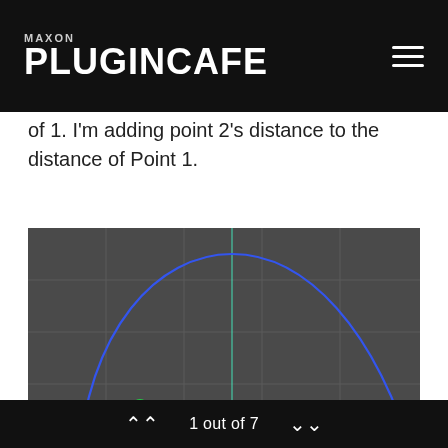MAXON PLUGINCAFE
of 1. I'm adding point 2's distance to the distance of Point 1.
[Figure (screenshot): A 3D viewport/graph editor on a dark grey background showing a large blue arc/semicircle curve. A vertical cyan line crosses the center. Two points are marked near the lower-left of the curve: a grey point labeled '1' and a green point labeled '2'.]
1 out of 7